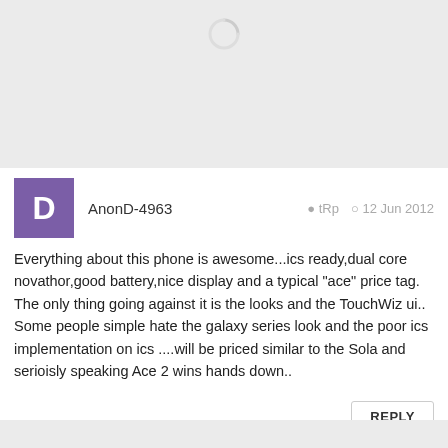[Figure (other): Loading spinner icon at top of page on gray background]
AnonD-4963   tRp   12 Jun 2012
Everything about this phone is awesome...ics ready,dual core novathor,good battery,nice display and a typical "ace" price tag. The only thing going against it is the looks and the TouchWiz ui.. Some people simple hate the galaxy series look and the poor ics implementation on ics ....will be priced similar to the Sola and serioisly speaking Ace 2 wins hands down..